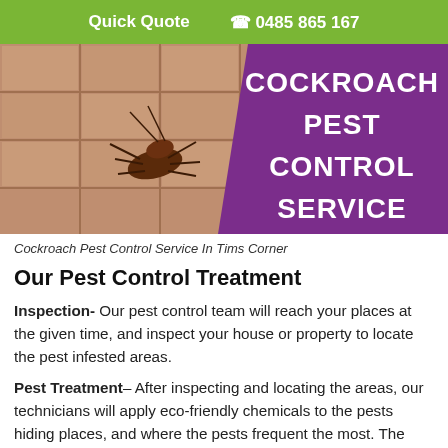Quick Quote  ☎ 0485 865 167
[Figure (photo): Dead cockroach lying on tiled floor with purple banner overlay reading COCKROACH PEST CONTROL SERVICE]
Cockroach Pest Control Service In Tims Corner
Our Pest Control Treatment
Inspection- Our pest control team will reach your places at the given time, and inspect your house or property to locate the pest infested areas.
Pest Treatment– After inspecting and locating the areas, our technicians will apply eco-friendly chemicals to the pests hiding places, and where the pests frequent the most. The chemicals we use for the pest control treatment, are completely safe to humans and do no harm to your kids